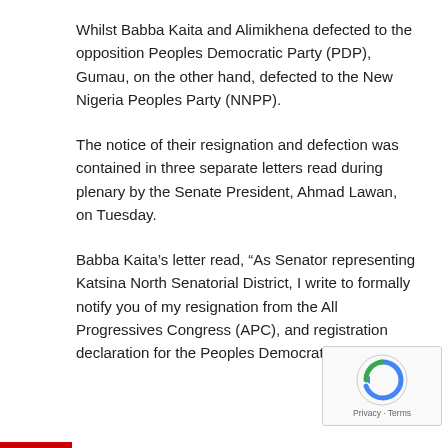Whilst Babba Kaita and Alimikhena defected to the opposition Peoples Democratic Party (PDP), Gumau, on the other hand, defected to the New Nigeria Peoples Party (NNPP).
The notice of their resignation and defection was contained in three separate letters read during plenary by the Senate President, Ahmad Lawan, on Tuesday.
Babba Kaita’s letter read, “As Senator representing Katsina North Senatorial District, I write to formally notify you of my resignation from the All Progressives Congress (APC), and registration declaration for the Peoples Democratic Party.
[Figure (logo): reCAPTCHA logo with Privacy and Terms text]